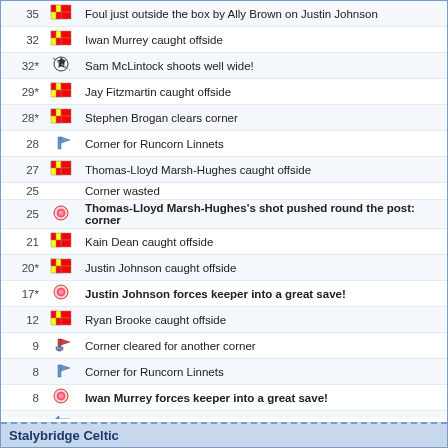35 - Foul just outside the box by Ally Brown on Justin Johnson
32 - Iwan Murrey caught offside
32* - Sam McLintock shoots well wide!
29* - Jay Fitzmartin caught offside
28* - Stephen Brogan clears corner
28 - Corner for Runcorn Linnets
27 - Thomas-Lloyd Marsh-Hughes caught offside
25 - Corner wasted
25 - Thomas-Lloyd Marsh-Hughes's shot pushed round the post: corner
21 - Kain Dean caught offside
20* - Justin Johnson caught offside
17* - Justin Johnson forces keeper into a great save!
12 - Ryan Brooke caught offside
9 - Corner cleared for another corner
8 - Corner for Runcorn Linnets
8 - Iwan Murrey forces keeper into a great save!
7* - Sub: Aarron Grewal for Raul Correia
3* - Injury to Raul Correia
2 - GOAL! Scored by Alex Downes with a header! - Assist by Ally Brown
2 - Corner for Runcorn Linnets
1 - Kick off - Runcorn Linnets
Stalybridge Celtic